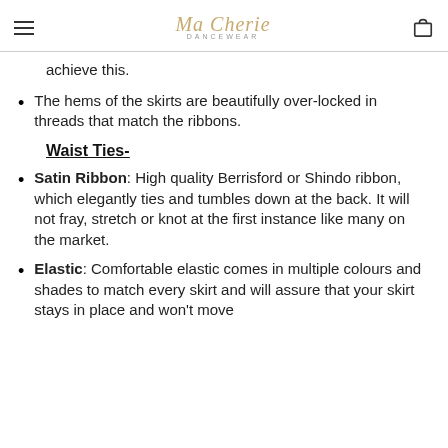Ma Cherie Dancewear
achieve this.
The hems of the skirts are beautifully over-locked in threads that match the ribbons.
Waist Ties-
Satin Ribbon: High quality Berrisford or Shindo ribbon, which elegantly ties and tumbles down at the back. It will not fray, stretch or knot at the first instance like many on the market.
Elastic: Comfortable elastic comes in multiple colours and shades to match every skirt and will assure that your skirt stays in place and won't move